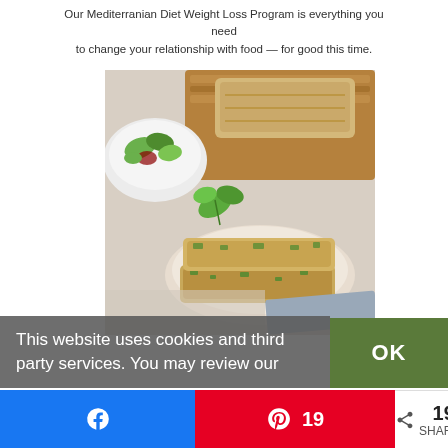Our Mediterranian Diet Weight Loss Program is everything you need to change your relationship with food — for good this time.
[Figure (photo): A Mediterranean-style dish with a breaded/crusted square piece of food stacked on a plate, fresh greens/herbs, a bowl of salad, and flatbread on a wooden cutting board.]
This website uses cookies and third party services. You may review our
OK
< 19 SHARES